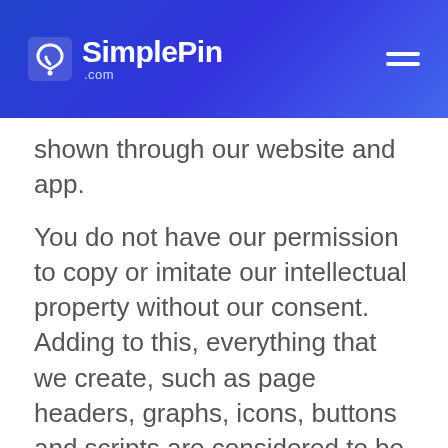SimplePin .com
shown through our website and app.
You do not have our permission to copy or imitate our intellectual property without our consent. Adding to this, everything that we create, such as page headers, graphs, icons, buttons and scripts are considered to be service marks, trade dress and/or a trademark. You do not have our permission to copy or imitate any of the prior without our written consent. We are open to sharing and do not need our written consent for our HTML logos that are provided by SimplePin through our vendors, SMS and